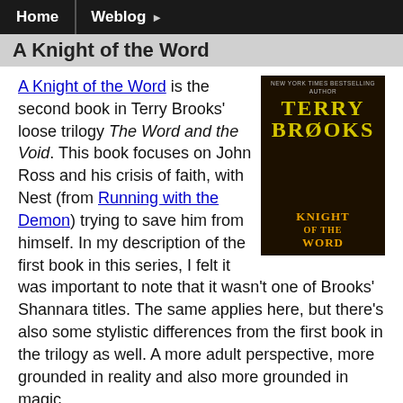Home | Weblog
A Knight of the Word
A Knight of the Word is the second book in Terry Brooks' loose trilogy The Word and the Void. This book focuses on John Ross and his crisis of faith, with Nest (from Running with the Demon) trying to save him from himself. In my description of the first book in this series, I felt it was important to note that it wasn't one of Brooks' Shannara titles. The same applies here, but there's also some stylistic differences from the first book in the trilogy as well. A more adult perspective, more grounded in reality and also more grounded in magic.
[Figure (photo): Book cover for A Knight of the Word by Terry Brooks. Dark cover with author name in yellow and title in orange text.]
Ross has a definite sense of